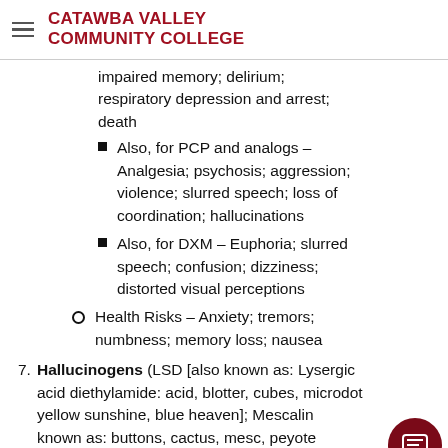CATAWBA VALLEY COMMUNITY COLLEGE
impaired memory; delirium; respiratory depression and arrest; death
Also, for PCP and analogs – Analgesia; psychosis; aggression; violence; slurred speech; loss of coordination; hallucinations
Also, for DXM – Euphoria; slurred speech; confusion; dizziness; distorted visual perceptions
Health Risks – Anxiety; tremors; numbness; memory loss; nausea
7. Hallucinogens (LSD [also known as: Lysergic acid diethylamide: acid, blotter, cubes, microdot yellow sunshine, blue heaven]; Mescaline [also known as: buttons, cactus, mesc, peyote]; Psilocybin [also known as: Magic mushrooms,